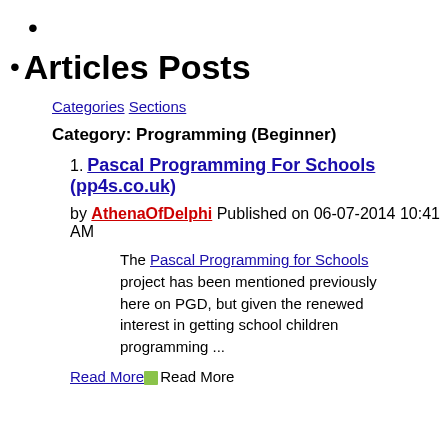•
Articles Posts
Categories Sections
Category: Programming (Beginner)
1. Pascal Programming For Schools (pp4s.co.uk)
by AthenaOfDelphi Published on 06-07-2014 10:41 AM
The Pascal Programming for Schools project has been mentioned previously here on PGD, but given the renewed interest in getting school children programming ...
Read More Read More